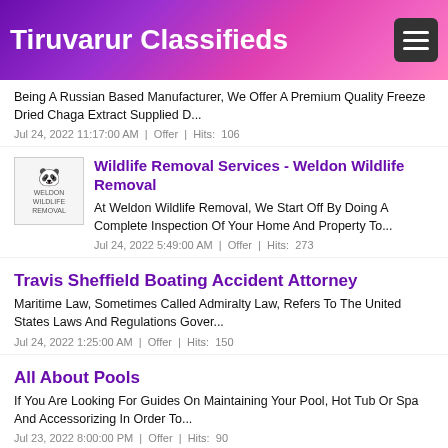Tiruvarur Classifieds
Being A Russian Based Manufacturer, We Offer A Premium Quality Freeze Dried Chaga Extract Supplied D...
Jul 24, 2022 11:17:00 AM  |  Offer  |  Hits:  106
Wildlife Removal Services - Weldon Wildlife Removal
At Weldon Wildlife Removal, We Start Off By Doing A Complete Inspection Of Your Home And Property To...
Jul 24, 2022 5:49:00 AM  |  Offer  |  Hits:  273
Travis Sheffield Boating Accident Attorney
Maritime Law, Sometimes Called Admiralty Law, Refers To The United States Laws And Regulations Gover...
Jul 24, 2022 1:25:00 AM  |  Offer  |  Hits:  150
All About Pools
If You Are Looking For Guides On Maintaining Your Pool, Hot Tub Or Spa And Accessorizing In Order To...
Jul 23, 2022 8:00:00 PM  |  Offer  |  Hits:  90